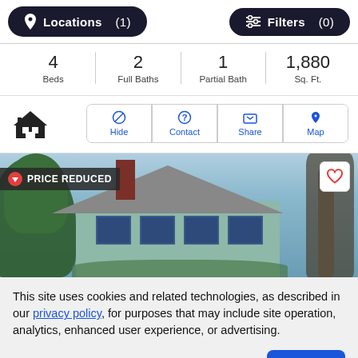Locations (1)  Filters (0)
4 Beds  2 Full Baths  1 Partial Bath  1,880 Sq. Ft.
[Figure (screenshot): Action buttons: Hide, Contact, Share, Map with a house icon on the left]
[Figure (photo): House exterior photo with PRICE REDUCED badge and heart/favorite icon]
This site uses cookies and related technologies, as described in our privacy policy, for purposes that may include site operation, analytics, enhanced user experience, or advertising.
Manage Preferences  Accept